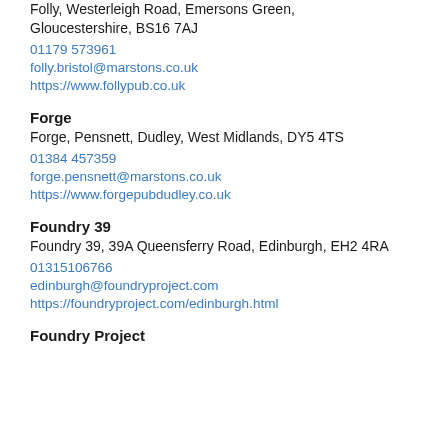Folly, Westerleigh Road, Emersons Green, Gloucestershire, BS16 7AJ
01179 573961
folly.bristol@marstons.co.uk
https://www.follypub.co.uk
Forge
Forge, Pensnett, Dudley, West Midlands, DY5 4TS
01384 457359
forge.pensnett@marstons.co.uk
https://www.forgepubdudley.co.uk
Foundry 39
Foundry 39, 39A Queensferry Road, Edinburgh, EH2 4RA
01315106766
edinburgh@foundryproject.com
https://foundryproject.com/edinburgh.html
Foundry Project